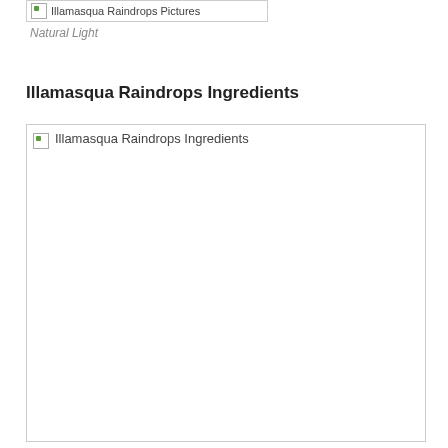[Figure (other): Broken image placeholder labeled 'Illamasqua Raindrops Pictures' with a small green icon, shown in a bordered box]
Natural Light
Illamasqua Raindrops Ingredients
[Figure (photo): Large broken image placeholder labeled 'Illamasqua Raindrops Ingredients', shown as a large bordered white box with broken image icon and alt text in top-left corner]